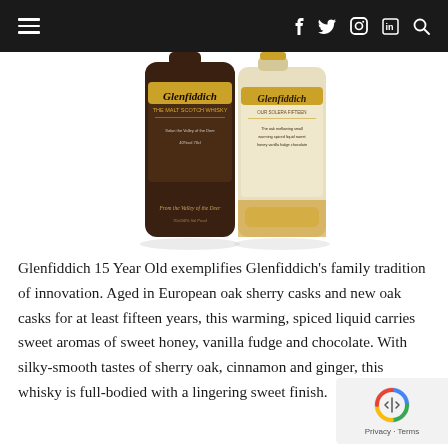Navigation bar with hamburger menu and social icons (f, twitter, instagram, linkedin, search)
[Figure (photo): Two Glenfiddich whisky bottles side by side — one with a dark brown/maroon label and one with a cream/gold label, showing the Glenfiddich branding]
Glenfiddich 15 Year Old exemplifies Glenfiddich's family tradition of innovation. Aged in European oak sherry casks and new oak casks for at least fifteen years, this warming, spiced liquid carries sweet aromas of sweet honey, vanilla fudge and chocolate. With silky-smooth tastes of sherry oak, cinnamon and ginger, this whisky is full-bodied with a lingering sweet finish.